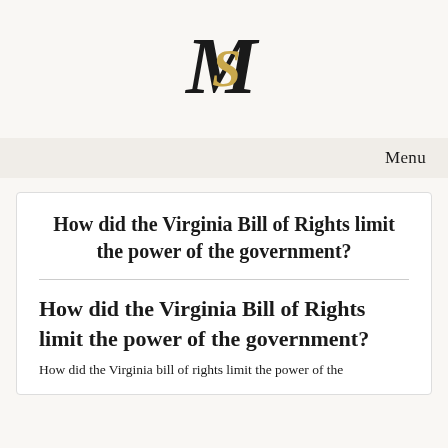[Figure (logo): Monogram logo with intertwined M and S letters, M in black serif and S in gold/yellow serif style]
Menu
How did the Virginia Bill of Rights limit the power of the government?
How did the Virginia Bill of Rights limit the power of the government?
How did the Virginia bill of rights limit the power of the